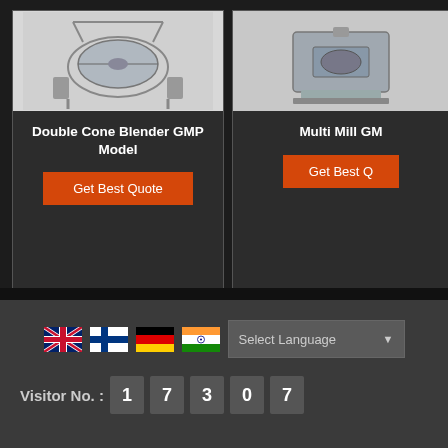[Figure (photo): Double Cone Blender GMP Model product image on dark background]
Double Cone Blender GMP Model
Get Best Quote
[Figure (photo): Multi Mill GMP Model product image on light background]
Multi Mill GMP Model
Get Best Quote
[Figure (screenshot): Language selector with UK, Finland, Germany, India flags and Select Language dropdown]
Visitor No. : 17307
Vibro Sifter Machine GMP Model
Multi Mill GMP Model
Pharmaceutical Mixer
Pharmaceutical Dryer
Colloid Mill GMP Model
Planetary Mixer GMP Model
Starch Paste Kettle GMP Model
Pulverizer Machine GMP Model
Tablet & Capsule Counting Machine GMP Model
Coating Pan Machine GMP Model